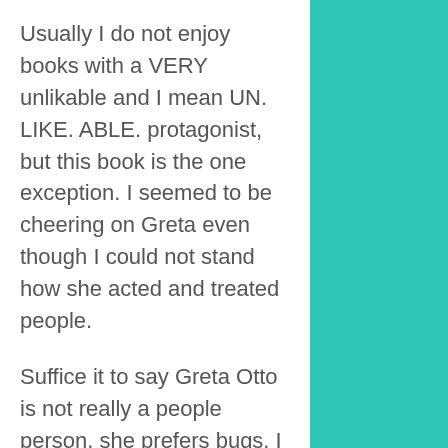Usually I do not enjoy books with a VERY unlikable and I mean UN. LIKE. ABLE. protagonist, but this book is the one exception. I seemed to be cheering on Greta even though I could not stand how she acted and treated people.

Suffice it to say Greta Otto is not really a people person, she prefers bugs. I actually could relate to this because there are times that I prefer my cats to people, but I hope I am more likable and treat people better than Greta did. Great is smart